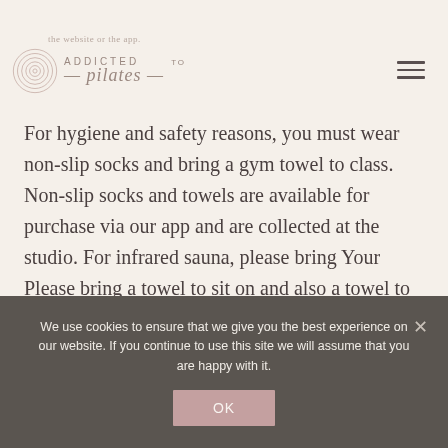the website or the app. ADDICTED TO pilates
For hygiene and safety reasons, you must wear non-slip socks and bring a gym towel to class. Non-slip socks and towels are available for purchase via our app and are collected at the studio. For infrared sauna, please bring Your Please bring a towel to sit on and also a towel to wipe down Your body after the session.
We use cookies to ensure that we give you the best experience on our website. If you continue to use this site we will assume that you are happy with it.